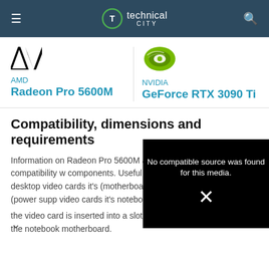technical city
[Figure (logo): AMD Radeon Pro 5600M logo with AMD wordmark in blue]
[Figure (logo): NVIDIA GeForce RTX 3090 Ti logo with green NVIDIA shield icon]
Compatibility, dimensions and requirements
Information on Radeon Pro 5600M and GeForce RTX 3090 Ti compatibility with other components. Useful when choosing a configuration or upgrading. For desktop video cards it's (motherboard compatibility), connectors (power supply), for notebook video cards it's notebook compatibility. The video card is inserted into a slot instead of being soldered to the notebook motherboard.
[Figure (screenshot): Black video player overlay showing 'No compatible source was found for this media.' with an X icon]